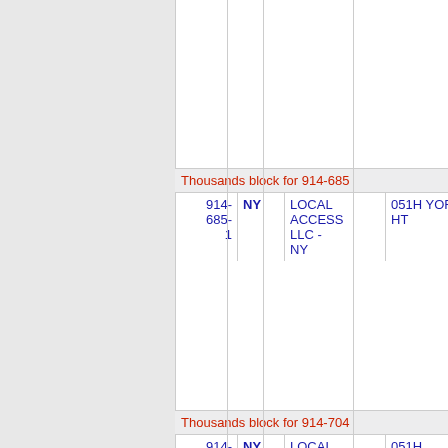| Number | State | Company | Code | Location |
| --- | --- | --- | --- | --- |
| Thousands block for 914-685 |  |  |  |  |
| 914-685-1 | NY | LOCAL ACCESS LLC - NY | 051H | YORKTN HT... |
| Number | State | Company | Code | Location |
| --- | --- | --- | --- | --- |
| Thousands block for 914-704 |  |  |  |  |
| 914- | NY | LOCAL | 051H | WSCHSTZN... |